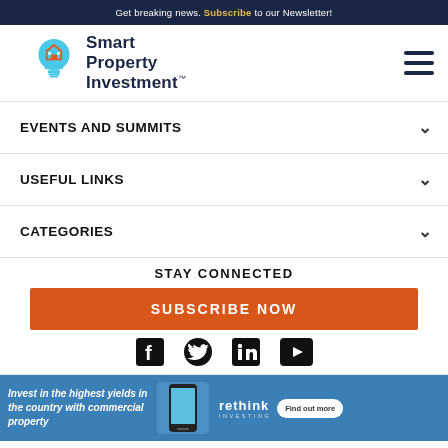Get breaking news. Subscribe to our Newsletter!
[Figure (logo): Smart Property Investment logo with lightbulb icon]
EVENTS AND SUMMITS
USEFUL LINKS
CATEGORIES
STAY CONNECTED
SUBSCRIBE NOW
[Figure (infographic): Social media icons: Facebook, Twitter, LinkedIn, YouTube]
[Figure (infographic): Advertisement banner: Invest in the highest yields in the country with commercial property - rethink - Find out more]